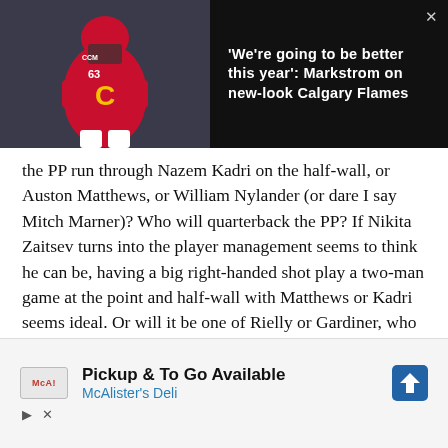[Figure (photo): Dark banner overlay showing a Calgary Flames goalie in red jersey/pads and text headline on black background with close button]
'We're going to be better this year': Markstrom on new-look Calgary Flames
the PP run through Nazem Kadri on the half-wall, or Auston Matthews, or William Nylander (or dare I say Mitch Marner)? Who will quarterback the PP? If Nikita Zaitsev turns into the player management seems to think he can be, having a big right-handed shot play a two-man game at the point and half-wall with Matthews or Kadri seems ideal. Or will it be one of Rielly or Gardiner, who we know can lead the breakouts and set up the PP nicely?
[Figure (infographic): Advertisement banner: McAlister's Deli - Pickup & To Go Available, with McA logo and direction arrow icon]